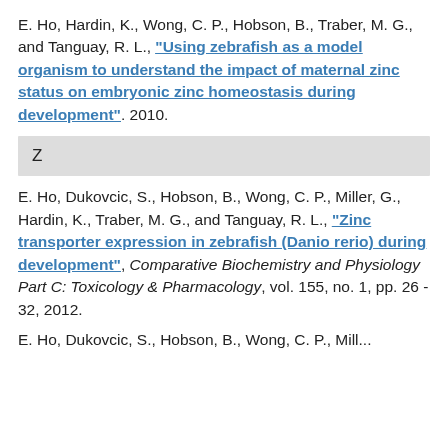E. Ho, Hardin, K., Wong, C. P., Hobson, B., Traber, M. G., and Tanguay, R. L., “Using zebrafish as a model organism to understand the impact of maternal zinc status on embryonic zinc homeostasis during development”. 2010.
Z
E. Ho, Dukovcic, S., Hobson, B., Wong, C. P., Miller, G., Hardin, K., Traber, M. G., and Tanguay, R. L., “Zinc transporter expression in zebrafish (Danio rerio) during development”, Comparative Biochemistry and Physiology Part C: Toxicology & Pharmacology, vol. 155, no. 1, pp. 26 - 32, 2012.
E. Ho, Dukovcic, S., Hobson, B., Wong, C. P., Mill...